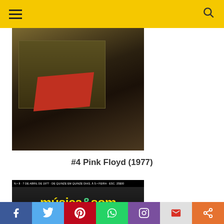Navigation header with menu and search icons
[Figure (photo): Studio or concert equipment photo, dark tones with reddish element, Pink Floyd 1977]
#4 Pink Floyd (1977)
[Figure (photo): Magazine cover: Música & Som, showing a performer, with text 'OFERTA SENSACIONAL! vá com música&som ver']
Social share bar: Facebook, Twitter, Pinterest, WhatsApp, Instagram, Gmail, Share